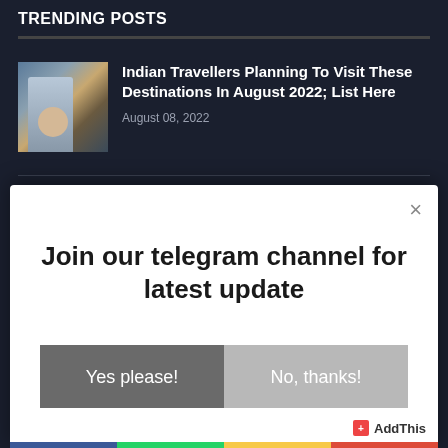TRENDING POSTS
Indian Travellers Planning To Visit These Destinations In August 2022; List Here
August 08, 2022
[Figure (photo): Photo of a young woman traveller at an airport, wearing a hat, smiling, with an airport departure board in the background]
Join our telegram channel for latest update
Yes please!
No, thanks!
AddThis